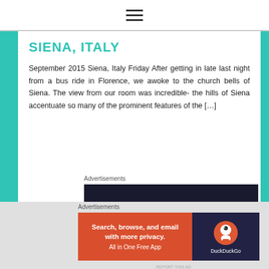≡
SIENA, ITALY
September 2015 Siena, Italy Friday After getting in late last night from a bus ride in Florence, we awoke to the church bells of Siena. The view from our room was incredible- the hills of Siena accentuate so many of the prominent features of the […]
Advertisements
[Figure (other): Advertisement banner: dark navy background with teal text reading 'Turn your blog into a money-making online course.']
Advertisements
[Figure (other): DuckDuckGo advertisement: orange left panel reading 'Search, browse, and email with more privacy. All in One Free App' and dark panel with DuckDuckGo logo and name.]